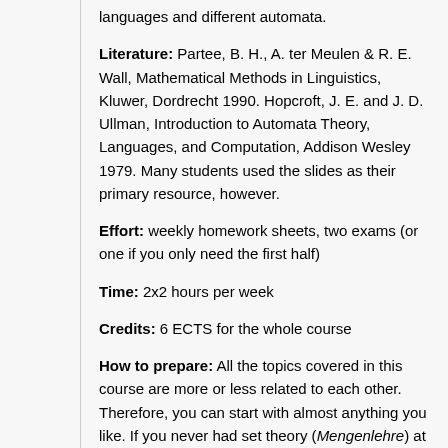languages and different automata.
Literature: Partee, B. H., A. ter Meulen & R. E. Wall, Mathematical Methods in Linguistics, Kluwer, Dordrecht 1990. Hopcroft, J. E. and J. D. Ullman, Introduction to Automata Theory, Languages, and Computation, Addison Wesley 1979. Many students used the slides as their primary resource, however.
Effort: weekly homework sheets, two exams (or one if you only need the first half)
Time: 2x2 hours per week
Credits: 6 ECTS for the whole course
How to prepare: All the topics covered in this course are more or less related to each other. Therefore, you can start with almost anything you like. If you never had set theory (Mengenlehre) at school, you might want to start learning about Venn diagrams. An interest in solving logic puzzles or murder mysteries could also be an advantage.
How to survive: Find a source that explains